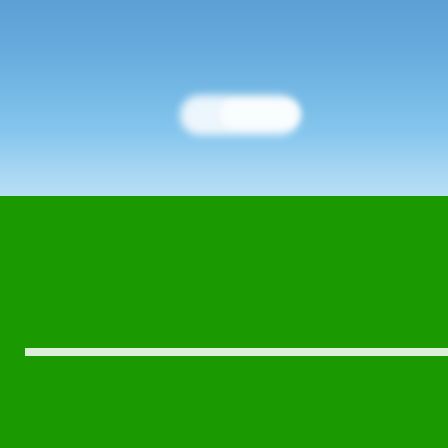[Figure (photo): Blue sky with white clouds photograph at the top of the page]
Posted by on 2021-01-07
We will do our best to accommoda... Newport: See 138 unbiased revie... 3.5 of 5 on Tripadvisor and ranked... back thats for sure. I know this I w... back food constantly!More, Food t... there was a Nazi sitting at the fro... and laughing and carrying on with... Newport, there are several Seafoo... Seafood restaurant stands out as... as our customers always have a w... Ordered shrimp breaded & deep f... Entrees are served with fresh bak... clam chowder ($0.50 extra); and y... potatoes, rice pilaf, French fries. A... working people. Hotels near Yaqu... near Devils Punchbowl State...